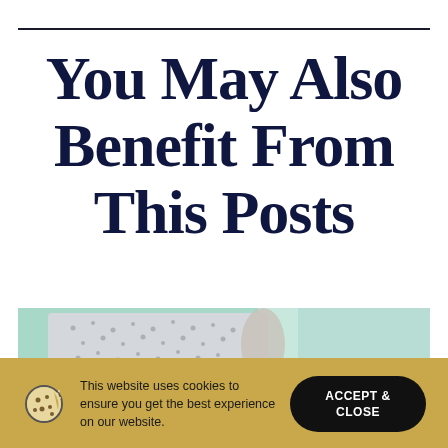You May Also Benefit From This Posts
[Figure (photo): A person wearing a patterned hospital gown, photographed from behind/side, with a light teal/green background.]
This website uses cookies to ensure you get the best experience on our website.
ACCEPT & CLOSE
DECLINE